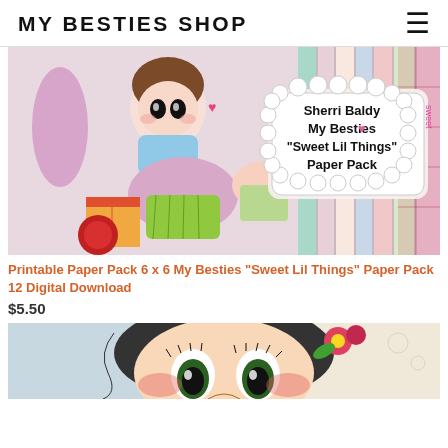MY BESTIES SHOP
[Figure (photo): Product image showing a cartoon girl with cupcakes and candy, with decorative paper pack sheets fanned out behind. A cloud-shaped label reads: Sherri Baldy My Besties "Sweet Lil Things" Paper Pack]
Printable Paper Pack 6 x 6 My Besties "Sweet Lil Things" Paper Pack 12 Digital Download
$5.50
[Figure (photo): Partial image of a cartoon girl with big eyes, flower in hair, and red cheeks — visible from forehead to mid-face]